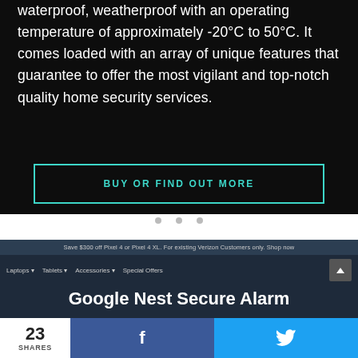waterproof, weatherproof with an operating temperature of approximately -20°C to 50°C. It comes loaded with an array of unique features that guarantee to offer the most vigilant and top-notch quality home security services.
[Figure (screenshot): Dark background section with 'BUY OR FIND OUT MORE' button in teal outline style]
[Figure (screenshot): Slider dot indicators: three grey dots in a row]
[Figure (screenshot): Website screenshot showing promo bar 'Save $300 off Pixel 4 or Pixel 4 XL. For existing Verizon Customers only. Shop now', navigation with Laptops, Tablets, Accessories, Special Offers, and beginning of page title 'Google Nest Secure Alarm']
23 SHARES